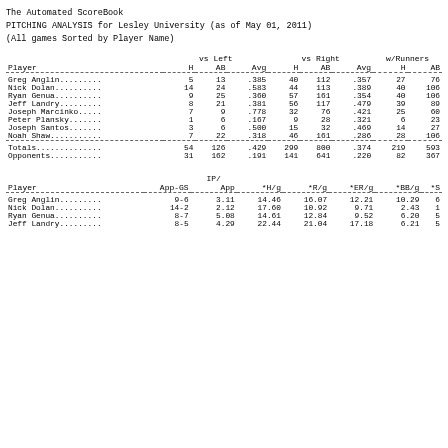The Automated ScoreBook
PITCHING ANALYSIS for Lesley University (as of May 01, 2011)
(All games Sorted by Player Name)
| Player | H | AB | Avg | H | AB | Avg | H | AB |
| --- | --- | --- | --- | --- | --- | --- | --- | --- |
| Greg Anglin......... | 5 | 13 | .385 | 40 | 112 | .357 | 27 | 76 |
| Nick Dolan.......... | 14 | 24 | .583 | 44 | 113 | .389 | 40 | 106 |
| Ryan Genua.......... | 9 | 25 | .360 | 57 | 161 | .354 | 40 | 106 |
| Jeff Landry......... | 8 | 21 | .381 | 56 | 117 | .479 | 39 | 89 |
| Joseph Marcinko..... | 7 | 9 | .778 | 32 | 76 | .421 | 25 | 60 |
| Peter Plansky....... | 1 | 6 | .167 | 9 | 28 | .321 | 6 | 23 |
| Joseph Santos....... | 3 | 6 | .500 | 15 | 32 | .469 | 14 | 27 |
| Noah Shaw........... | 7 | 22 | .318 | 46 | 161 | .286 | 28 | 106 |
| Totals.............. | 54 | 126 | .429 | 299 | 800 | .374 | 219 | 593 |
| Opponents........... | 31 | 162 | .191 | 141 | 641 | .220 | 82 | 367 |
| Player | App-GS | IP/App | *H/g | *R/g | *ER/g | *BB/g | *S |
| --- | --- | --- | --- | --- | --- | --- | --- |
| Greg Anglin......... | 9-6 | 3.11 | 14.46 | 16.07 | 12.21 | 10.29 | 6 |
| Nick Dolan.......... | 14-2 | 2.12 | 17.60 | 10.92 | 9.71 | 2.43 | 1 |
| Ryan Genua.......... | 8-7 | 5.08 | 14.61 | 12.84 | 9.52 | 6.20 | 5 |
| Jeff Landry......... | 8-5 | 4.29 | 22.44 | 21.04 | 17.18 | 6.21 | 5 |